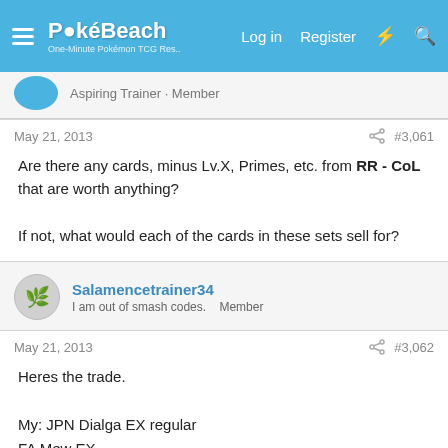PokéBeach — Log in | Register
Aspiring Trainer · Member
May 21, 2013   #3,061
Are there any cards, minus Lv.X, Primes, etc. from RR - CoL that are worth anything?

If not, what would each of the cards in these sets sell for?
Salamencetrainer34
I am out of smash codes.   Member
May 21, 2013   #3,062
Heres the trade.

My: JPN Dialga EX regular
FA Mew EX
Reverse crobat + Holo crobat